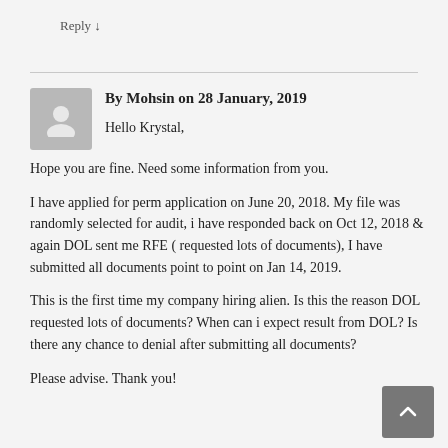Reply ↓
By Mohsin on 28 January, 2019
Hello Krystal,
Hope you are fine. Need some information from you.
I have applied for perm application on June 20, 2018. My file was randomly selected for audit, i have responded back on Oct 12, 2018 & again DOL sent me RFE ( requested lots of documents), I have submitted all documents point to point on Jan 14, 2019.
This is the first time my company hiring alien. Is this the reason DOL requested lots of documents? When can i expect result from DOL? Is there any chance to denial after submitting all documents?
Please advise. Thank you!